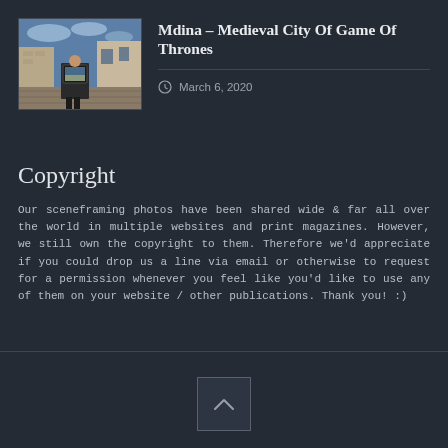[Figure (photo): Thumbnail photo of Mdina medieval city street scene with a person holding a tablet showing a photo]
Mdina – Medieval City Of Game Of Thrones
March 6, 2020
Copyright
Our sceneframing photos have been shared wide & far all over the world in multiple websites and print magazines. However, we still own the copyright to them. Therefore we'd appreciate if you could drop us a line via email or otherwise to request for a permission whenever you feel like you'd like to use any of them on your website / other publications. Thank you! :)
Scroll to top button